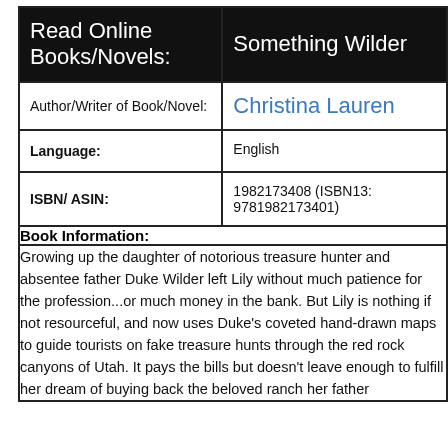| Read Online Books/Novels: | Something Wilder |
| --- | --- |
| Author/Writer of Book/Novel: | Christina Lauren |
| Language: | English |
| ISBN/ ASIN: | 1982173408 (ISBN13: 9781982173401) |
| Book Information: |  |
| Growing up the daughter of notorious treasure hunter and absentee father Duke Wilder left Lily without much patience for the profession...or much money in the bank. But Lily is nothing if not resourceful, and now uses Duke's coveted hand-drawn maps to guide tourists on fake treasure hunts through the red rock canyons of Utah. It pays the bills but doesn't leave enough to fulfill her dream of buying back the beloved ranch her father |  |